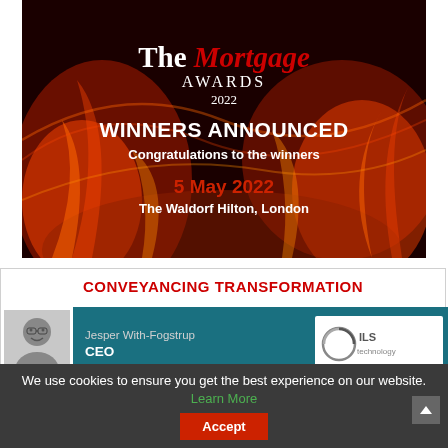[Figure (photo): The Mortgage Awards 2022 promotional banner with flame/fire background showing WINNERS ANNOUNCED, Congratulations to the winners, 5 May 2022, The Waldorf Hilton London]
CONVEYANCING TRANSFORMATION
[Figure (photo): Person card showing Jesper With-Fogstrup, CEO, on teal background with ILS technology logo]
We use cookies to ensure you get the best experience on our website. Learn More Accept